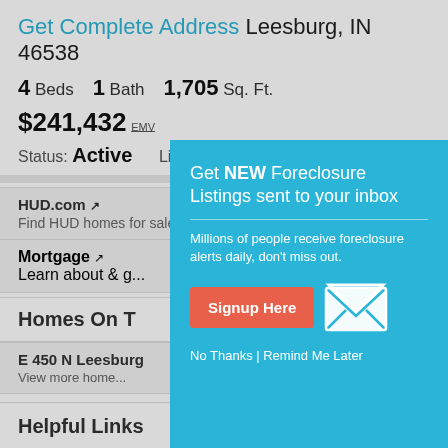Get Complete Address Leesburg, IN 46538
4 Beds  1 Bath  1,705 Sq. Ft.
$241,432 EMV
Status: Active   Listing ID: 57526565
HUD.com
Find HUD homes for sale.
Mortgage
Learn about & g...
Homes On T...
E 450 N Leesburg...
View more home...
Helpful Links
How to buy foreclosure homes in IN
[Figure (screenshot): Popup modal overlay with teal background: 'Get NEW Foreclosure Listings sent to your inbox'. Subtext: 'Millions of people receive foreclosure alerts daily, don't miss out.' Red button: 'Signup Here'. Mail envelope icon. Links: 'No Thanks | Remind Me Later']